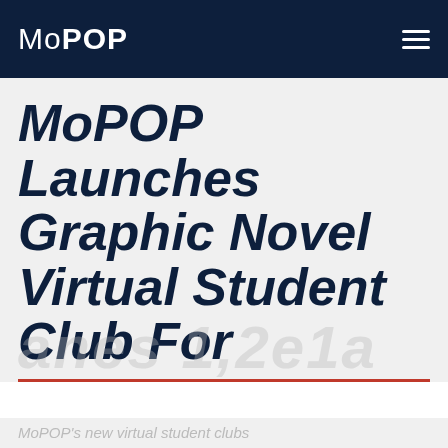MoPOP
MoPOP Launches Graphic Novel Virtual Student Club For
Cookie Notification
By using this website, you agree to our Privacy Policy and use of cookies and similar technologies. We store cookies and similar technologies on your computer or device to provide you with a great experience and help our website run effectively.
CLOSE
MoPOP's new virtual student clubs